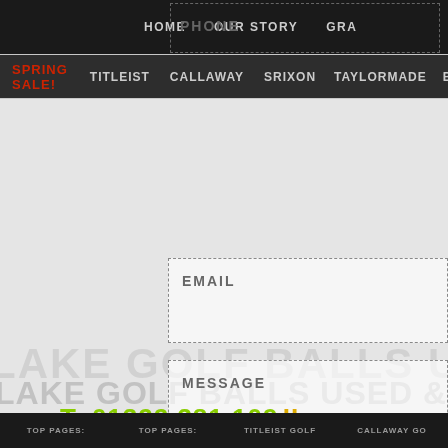HOME   OUR STORY   GRA
PHONE
SPRING SALE!   TITLEIST   CALLAWAY   SRIXON   TAYLORMADE   B
EMAIL
MESSAGE
LAKE GOLF BALLS USED & R
T: 01322 381 109
TOP PAGES:   TOP PAGES:   TITLEIST GOLF   CALLAWAY GO